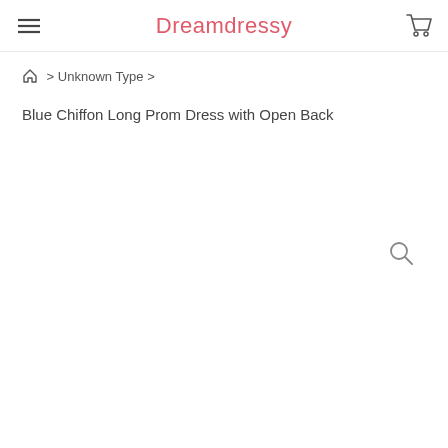Dreamdressy
Home > Unknown Type >
Blue Chiffon Long Prom Dress with Open Back